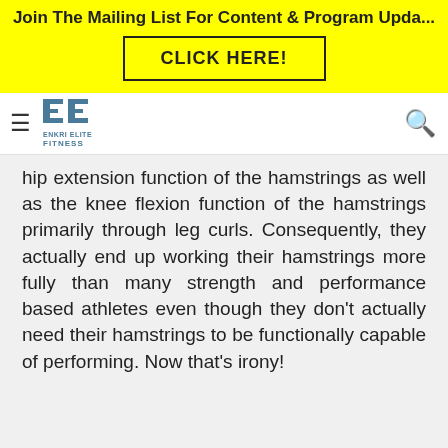Join The Mailing List For Content & Program Upda...
CLICK HERE!
[Figure (logo): Enkri Elite Fitness logo with two E letters and text below]
hip extension function of the hamstrings as well as the knee flexion function of the hamstrings primarily through leg curls. Consequently, they actually end up working their hamstrings more fully than many strength and performance based athletes even though they don't actually need their hamstrings to be functionally capable of performing. Now that's irony!